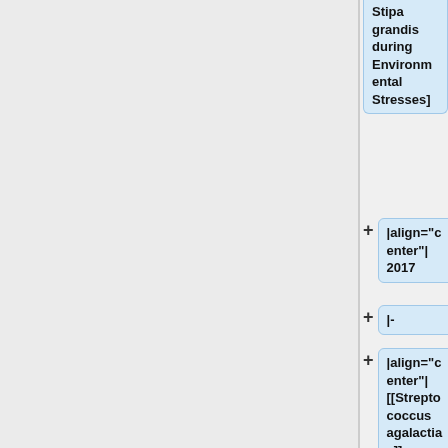Stipa grandis during Environmental Stresses]
+ |align="center"| 2017
+ |-
+ |align="center"| [[Streptococcus agalactiae]]
+ ||
+ * [https://www.ncbi.nlm.nih.gov/pubmed/22634000 Selection of reference genes for real-time expression